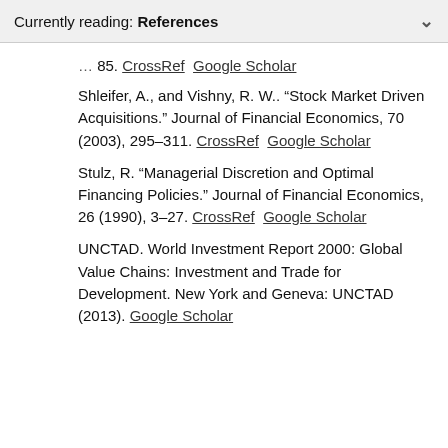Currently reading: References
85. CrossRef  Google Scholar
Shleifer, A., and Vishny, R. W.. “Stock Market Driven Acquisitions.” Journal of Financial Economics, 70 (2003), 295–311. CrossRef  Google Scholar
Stulz, R. “Managerial Discretion and Optimal Financing Policies.” Journal of Financial Economics, 26 (1990), 3–27. CrossRef  Google Scholar
UNCTAD. World Investment Report 2000: Global Value Chains: Investment and Trade for Development. New York and Geneva: UNCTAD (2013). Google Scholar